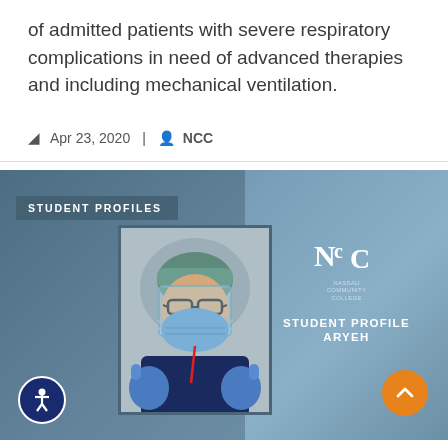of admitted patients with severe respiratory complications in need of advanced therapies and including mechanical ventilation.
Apr 23, 2020 | NCC
[Figure (infographic): Student Profiles card with a photo of a person wearing medical PPE (mask, face shield, gloves, head cover), NCC logo, and text reading 'STUDENT PROFILE ARYEH'. Orange scroll-to-top button and accessibility icon overlay.]
ARYEH